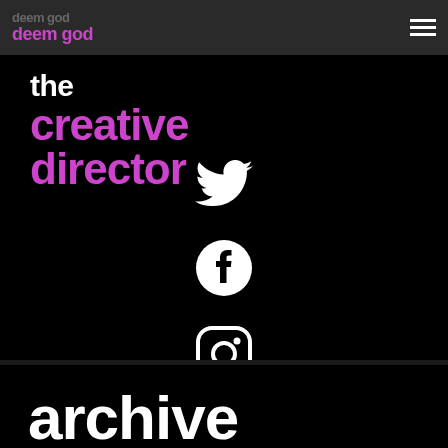deem god — the creative director
the creative director
[Figure (illustration): Twitter bird icon (white on black background)]
[Figure (illustration): Facebook circle icon (white on black background)]
[Figure (illustration): Instagram icon (white on black background)]
archive
August 2022